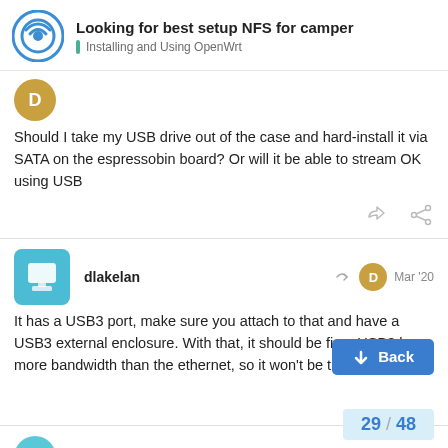Looking for best setup NFS for camper — Installing and Using OpenWrt
Should I take my USB drive out of the case and hard-install it via SATA on the espressobin board? Or will it be able to stream OK using USB
dlakelan  Mar '20
It has a USB3 port, make sure you attach to that and have a USB3 external enclosure. With that, it should be fine. USB3 has more bandwidth than the ethernet, so it won't be the choke point.
29 / 48
djizzy